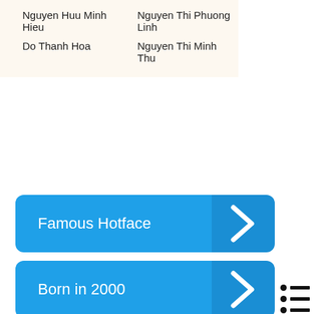| Nguyen Huu Minh Hieu | Nguyen Thi Phuong Linh |
| Do Thanh Hoa | Nguyen Thi Minh Thu |
Famous Hotface
Born in 2000
Born in The Dragon
Born in Zodiac Pisces